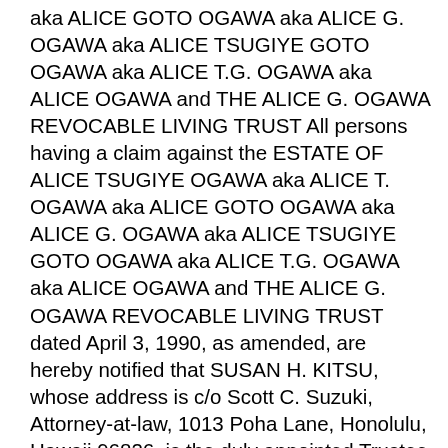aka ALICE GOTO OGAWA aka ALICE G. OGAWA aka ALICE TSUGIYE GOTO OGAWA aka ALICE T.G. OGAWA aka ALICE OGAWA and THE ALICE G. OGAWA REVOCABLE LIVING TRUST All persons having a claim against the ESTATE OF ALICE TSUGIYE OGAWA aka ALICE T. OGAWA aka ALICE GOTO OGAWA aka ALICE G. OGAWA aka ALICE TSUGIYE GOTO OGAWA aka ALICE T.G. OGAWA aka ALICE OGAWA and THE ALICE G. OGAWA REVOCABLE LIVING TRUST dated April 3, 1990, as amended, are hereby notified that SUSAN H. KITSU, whose address is c/o Scott C. Suzuki, Attorney-at-law, 1013 Poha Lane, Honolulu, Hawaii 96826, is the duly appointed Trustee of the above-referenced Trust. Pursuant to Hawaii Revised Statutes 560:3-801, all creditors of the above-named Estate and Trust are hereby notified to present their claims with proper vouchers or duly authenticated copies thereof, even if the claim is secured by mortgage upon real estate, to the above-named Trustee of the Trust at the address above, or herein, from the fourth date of